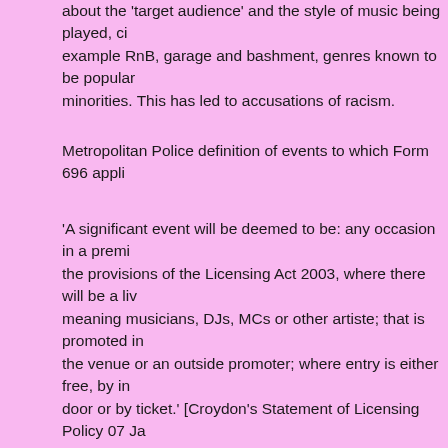about the 'target audience' and the style of music being played, ci example RnB, garage and bashment, genres known to be popular minorities. This has led to accusations of racism.
Metropolitan Police definition of events to which Form 696 appli
'A significant event will be deemed to be: any occasion in a premi the provisions of the Licensing Act 2003, where there will be a li meaning musicians, DJs, MCs or other artiste; that is promoted in the venue or an outside promoter; where entry is either free, by in door or by ticket.' [Croydon's Statement of Licensing Policy 07 Ja See (PDF file): http://www.croydon.gov.uk/contents/departments/business/pdf/59 Search within the document for 'Significant Event'
ENDS
Hamish Birchall
--